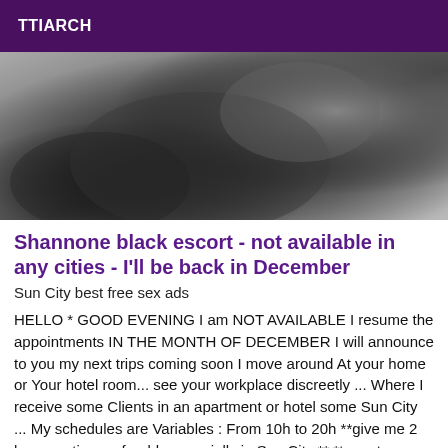TTIARCH
[Figure (photo): Black and white photograph, close-up of a person's body]
Shannone black escort - not available in any cities - I'll be back in December
Sun City best free sex ads
HELLO * GOOD EVENING I am NOT AVAILABLE I resume the appointments IN THE MONTH OF DECEMBER I will announce to you my next trips coming soon I move around At your home or Your hotel room... see your workplace discreetly ... Where I receive some Clients in an apartment or hotel some Sun City ... My schedules are Variables : From 10h to 20h **give me 2 hours notice preferably especially in Sun City ** *try not